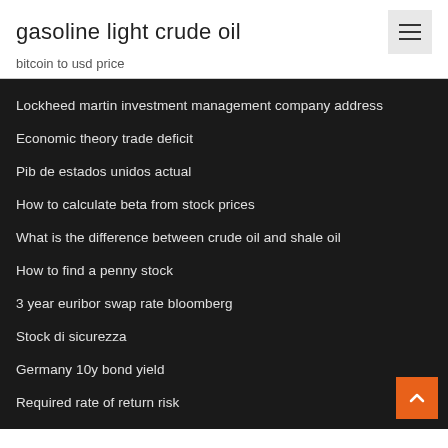gasoline light crude oil
bitcoin to usd price
Lockheed martin investment management company address
Economic theory trade deficit
Pib de estados unidos actual
How to calculate beta from stock prices
What is the difference between crude oil and shale oil
How to find a penny stock
3 year euribor swap rate bloomberg
Stock di sicurezza
Germany 10y bond yield
Required rate of return risk